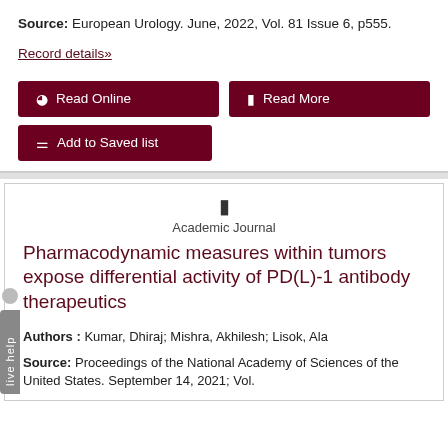Source: European Urology. June, 2022, Vol. 81 Issue 6, p555.
Record details»
🌐 Read Online
📄 Read More
🔖 Add to Saved list
Academic Journal
Pharmacodynamic measures within tumors expose differential activity of PD(L)-1 antibody therapeutics
Authors : Kumar, Dhiraj; Mishra, Akhilesh; Lisok, Ala
Source: Proceedings of the National Academy of Sciences of the United States. September 14, 2021; Vol.